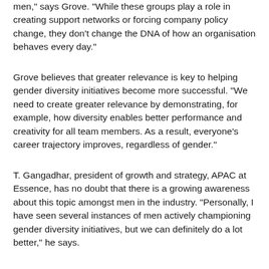men," says Grove. "While these groups play a role in creating support networks or forcing company policy change, they don't change the DNA of how an organisation behaves every day."
Grove believes that greater relevance is key to helping gender diversity initiatives become more successful. "We need to create greater relevance by demonstrating, for example, how diversity enables better performance and creativity for all team members. As a result, everyone's career trajectory improves, regardless of gender."
T. Gangadhar, president of growth and strategy, APAC at Essence, has no doubt that there is a growing awareness about this topic amongst men in the industry. "Personally, I have seen several instances of men actively championing gender diversity initiatives, but we can definitely do a lot better," he says.
What's the problem here, guys?